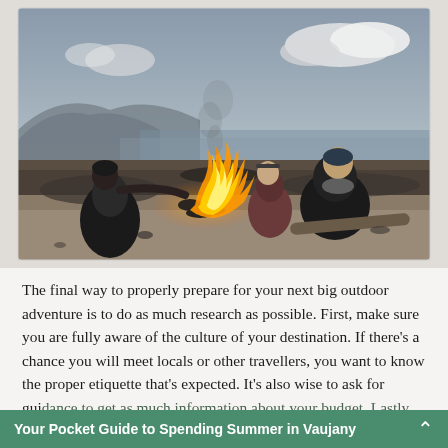[Figure (photo): Three people sitting around a campfire on a rocky beach at dusk, with hills and cloudy sky in the background. The fire glows warmly in the center.]
The final way to properly prepare for your next big outdoor adventure is to do as much research as possible. First, make sure you are fully aware of the culture of your destination. If there's a chance you will meet locals or other travellers, you want to know the proper etiquette that's expected. It's also wise to ask for guidance to get as much information about your budget. Lastly, consider
Your Pocket Guide to Spending Summer in Vaujany